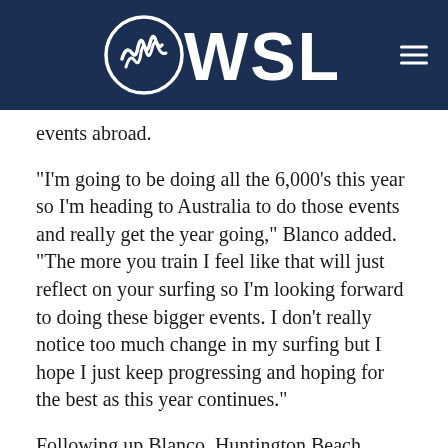[Figure (logo): WSL (World Surf League) logo on dark navy background with hamburger menu icon on the right]
events abroad.
"I'm going to be doing all the 6,000's this year so I'm heading to Australia to do those events and really get the year going," Blanco added. "The more you train I feel like that will just reflect on your surfing so I'm looking forward to doing these bigger events. I don't really notice too much change in my surfing but I hope I just keep progressing and hoping for the best as this year continues."
Following up Blanco, Huntington Beach surfer Meah Collins (USA) earned third place in the stacked women's Final. Finding a solid rhythm throughout this event, the 16-year-old found great success and is poised for a great year ahead of her in both the OS and Pro Junior series